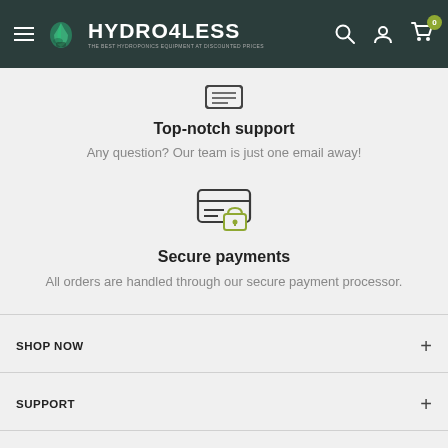HYDRO4LESS - THE BEST HYDROPONICS EQUIPMENT AT DISCOUNTED PRICES
[Figure (illustration): Icon of a headset/support symbol (partially visible at top)]
Top-notch support
Any question? Our team is just one email away!
[Figure (illustration): Icon of a credit card with a padlock overlay, representing secure payments]
Secure payments
All orders are handled through our secure payment processor.
SHOP NOW
SUPPORT